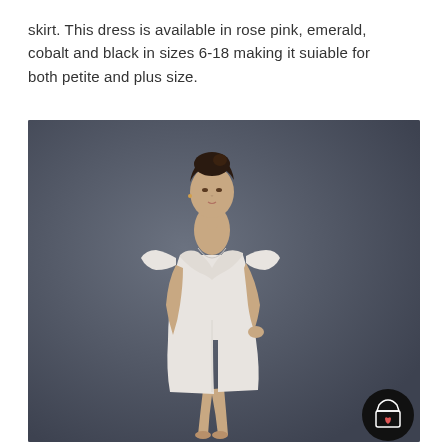skirt. This dress is available in rose pink, emerald, cobalt and black in sizes 6-18 making it suitable for both petite and plus size.
[Figure (photo): A female model wearing a white/light grey off-shoulder wrap-style midi bodycon dress against a dark grey background. The dress features a crossover bodice with off-the-shoulder sleeves and a fitted pencil skirt silhouette reaching mid-calf. A circular black shopping bag with heart icon button is visible in the bottom right corner.]